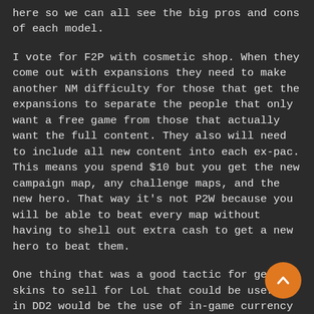here so we can all see the big pros and cons of each model.
I vote for F2P with cosmetic shop. When they come out with expansions they need to make another NM difficulty for those that get the expansions to separate the people that only want a free game from those that actually want the full content. They also will need to include all new content into each ex-pac. This means you spend $10 but you get the new campaign map, any challenge maps, and the new hero. That way it's not P2W because you will be able to beat every map without having to shell out extra cash to get a new hero to beat them.
One thing that was a good tactic for getting skins to sell for LoL that could be useful in DD2 would be the use of in-game currency other than $ and mana. This would be bought by $$ obviously but in LoL they use RP (if I remember correctly). They give you RP for just being logged in frequently and Trendy could use this same idea to help people get close to buying a skin. Obviously you wouldn't get enough free "RP" to buy a skin but you could get within 25% of it and you just have to pay $2.50 for a skin. Another tactic is only allowing people to buy ingame currency in increments of 5. The only thing I would REC Trendy to